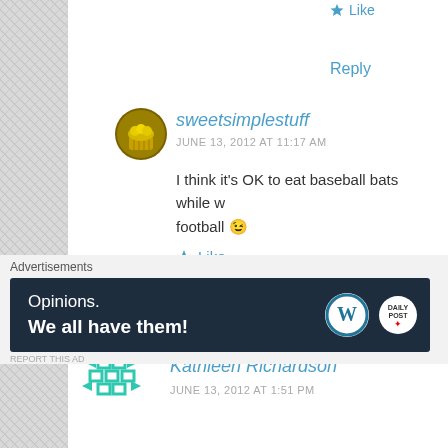Like
Reply
sweetsimplestuff
JUNE 13, 2012 AT 11:17 AM
I think it's OK to eat baseball bats while watching football 😉
Like
Reply
Kathleen Richardson
JUNE 13, 2012 AT 1:51 PM
Advertisements
[Figure (screenshot): WordPress advertisement banner: 'Opinions. We all have them!' with WordPress and Daily Post logos on dark navy background]